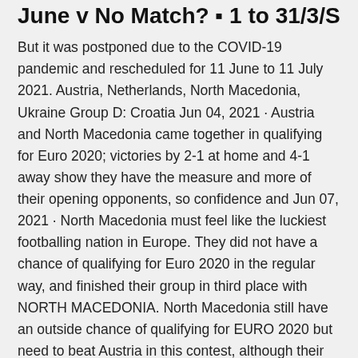June v No Match? ▪ 1 to 31/3/S
But it was postponed due to the COVID-19 pandemic and rescheduled for 11 June to 11 July 2021. Austria, Netherlands, North Macedonia, Ukraine Group D: Croatia Jun 04, 2021 · Austria and North Macedonia came together in qualifying for Euro 2020; victories by 2-1 at home and 4-1 away show they have the measure and more of their opening opponents, so confidence and Jun 07, 2021 · North Macedonia must feel like the luckiest footballing nation in Europe. They did not have a chance of qualifying for Euro 2020 in the regular way, and finished their group in third place with NORTH MACEDONIA. North Macedonia still have an outside chance of qualifying for EURO 2020 but need to beat Austria in this contest, although their success in the Nations League means that they are guaranteed a spot